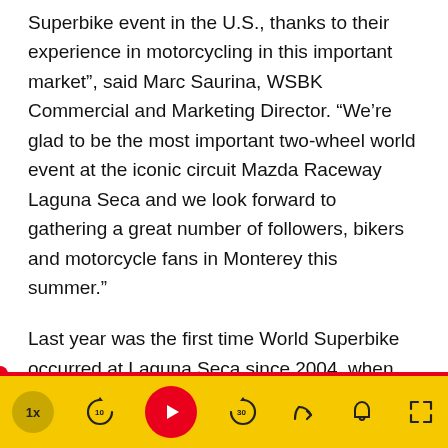Superbike event in the U.S., thanks to their experience in motorcycling in this important market”, said Marc Saurina, WSBK Commercial and Marketing Director. “We’re glad to be the most important two-wheel world event at the iconic circuit Mazda Raceway Laguna Seca and we look forward to gathering a great number of followers, bikers and motorcycle fans in Monterey this summer.”
Last year was the first time World Superbike occurred at Laguna Seca since 2004, when Ten Kate Honda's Chris Vermeulen doubled there.
Last year’s Laguna Seca round of World SBK was strewn with crashes. The first race, which was red flagged and completed on a 12-lap sprint, was won by the 2013 World